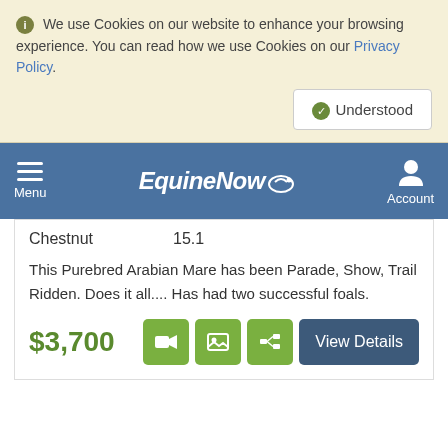We use Cookies on our website to enhance your browsing experience. You can read how we use Cookies on our Privacy Policy.
EquineNow — Menu / Account navigation bar
Chestnut   15.1
This Purebred Arabian Mare has been Parade, Show, Trail Ridden. Does it all.... Has had two successful foals.
$3,700